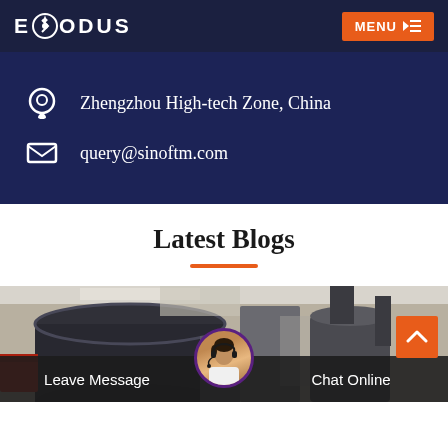EXODUS | MENU
Zhengzhou High-tech Zone, China
query@sinoftm.com
Latest Blogs
[Figure (photo): Industrial machinery photo showing large cylindrical equipment in a factory/warehouse setting with red accents]
Leave Message
Chat Online